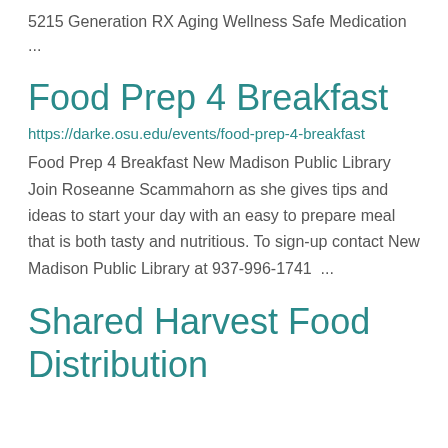5215 Generation RX Aging Wellness Safe Medication ...
Food Prep 4 Breakfast
https://darke.osu.edu/events/food-prep-4-breakfast
Food Prep 4 Breakfast New Madison Public Library Join Roseanne Scammahorn as she gives tips and ideas to start your day with an easy to prepare meal that is both tasty and nutritious. To sign-up contact New Madison Public Library at 937-996-1741  ...
Shared Harvest Food Distribution